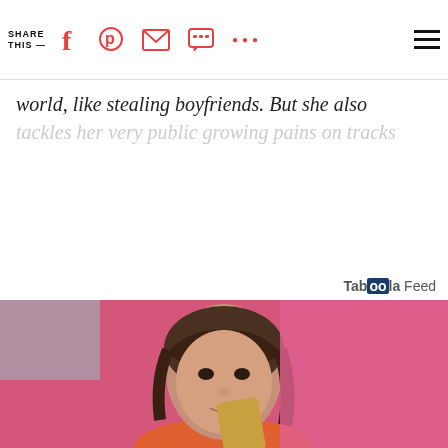SHARE THIS —  [social icons: facebook, pinterest, email, chat, more, menu]
world, like stealing boyfriends. But she also tackles her very public growing pains on tracks
CONTINUE READING
Taboola Feed
[Figure (photo): Young woman with dark hair and bangs, wearing orange top, holding a yellow/gold card near her mouth, pink background]